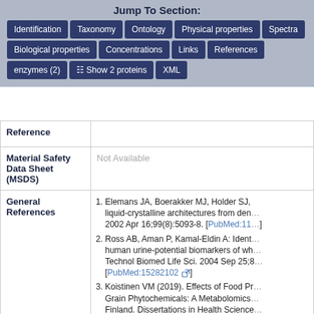Jump To Section:
Identification | Taxonomy | Ontology | Physical properties | Spectra
Biological properties | Concentrations | Links | References
enzymes (2) | Show 2 proteins | XML
| Reference |  |
| --- | --- |
| Reference |  |
| Material Safety Data Sheet (MSDS) | Not Available |
| General References | 1. Elemans JA, Boerakker MJ, Holder SJ, ... liquid-crystalline architectures from den... 2002 Apr 16;99(8):5093-8. [PubMed:11...]
2. Ross AB, Aman P, Kamal-Eldin A: Ident... human urine-potential biomarkers of wh... Technol Biomed Life Sci. 2004 Sep 25;8... [PubMed:15282102]
3. Koistinen VM (2019). Effects of Food Pr... Grain Phytochemicals: A Metabolomics... Finland. Dissertations in Health Science... [ISBN:978-952-61-3088-0] |